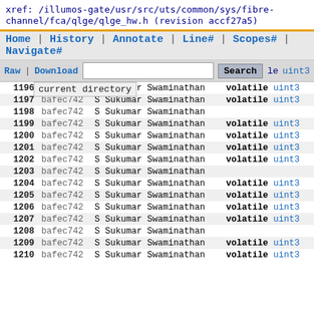xref: /illumos-gate/usr/src/uts/common/sys/fibre-channel/fca/qlge/qlge_hw.h (revision accf27a5)
Home | History | Annotate | Line# | Scopes# | Navigate#
Raw | Download  [Search]  Search current directory
| Line | Rev | Type | Author | Code |
| --- | --- | --- | --- | --- |
| 1196 | bafec742 | S | Sukumar Swaminathan | volatile uint3 |
| 1197 | bafec742 | S | Sukumar Swaminathan | volatile uint3 |
| 1198 | bafec742 | S | Sukumar Swaminathan |  |
| 1199 | bafec742 | S | Sukumar Swaminathan | volatile uint3 |
| 1200 | bafec742 | S | Sukumar Swaminathan | volatile uint3 |
| 1201 | bafec742 | S | Sukumar Swaminathan | volatile uint3 |
| 1202 | bafec742 | S | Sukumar Swaminathan | volatile uint3 |
| 1203 | bafec742 | S | Sukumar Swaminathan |  |
| 1204 | bafec742 | S | Sukumar Swaminathan | volatile uint3 |
| 1205 | bafec742 | S | Sukumar Swaminathan | volatile uint3 |
| 1206 | bafec742 | S | Sukumar Swaminathan | volatile uint3 |
| 1207 | bafec742 | S | Sukumar Swaminathan | volatile uint3 |
| 1208 | bafec742 | S | Sukumar Swaminathan |  |
| 1209 | bafec742 | S | Sukumar Swaminathan | volatile uint3 |
| 1210 | bafec742 | S | Sukumar Swaminathan | volatile uint3 |
| 1211 | bafec742 | S | Sukumar Swaminathan | volatile uint3 |
| 1212 | bafec742 | S | Sukumar Swaminathan | volatile uint3 |
| 1213 | bafec742 | S | Sukumar Swaminathan |  |
| 1214 | bafec742 | S | Sukumar Swaminathan | volatile uint3 |
| 1215 | bafec742 | S | Sukumar Swaminathan | volatile uint3 |
| 1216 | bafec742 | S | Sukumar Swaminathan | volatile uint3 |
| 1217 | bafec742 | S | Sukumar Swaminathan | volatile uint3 |
| 1218 | bafec742 | S | Sukumar Swaminathan |  |
| 1219 | bafec742 | S | Sukumar Swaminathan | volatile uint3 |
| 1220 | bafec742 | S | Sukumar Swaminathan | volatile uint3 |